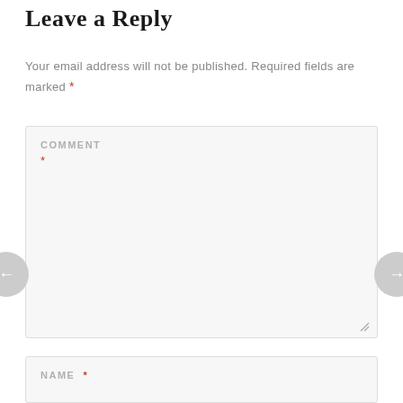Leave a Reply
Your email address will not be published. Required fields are marked *
[Figure (screenshot): Comment text area input field with label COMMENT and red asterisk, shown with a light gray background and border]
[Figure (screenshot): Name input field with label NAME and red asterisk, shown with a light gray background and border]